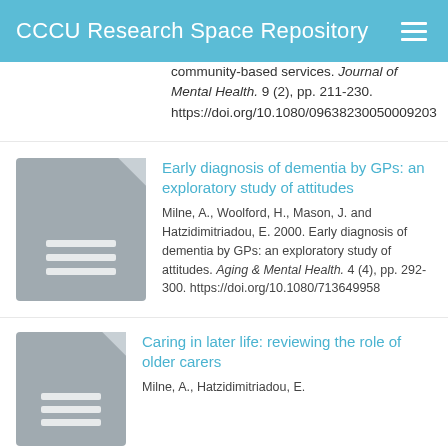CCCU Research Space Repository
community-based services. Journal of Mental Health. 9 (2), pp. 211-230. https://doi.org/10.1080/09638230050009203
Early diagnosis of dementia by GPs: an exploratory study of attitudes
Milne, A., Woolford, H., Mason, J. and Hatzidimitriadou, E. 2000. Early diagnosis of dementia by GPs: an exploratory study of attitudes. Aging & Mental Health. 4 (4), pp. 292-300. https://doi.org/10.1080/713649958
Caring in later life: reviewing the role of older carers
Milne, A., Hatzidimitriadou, E.